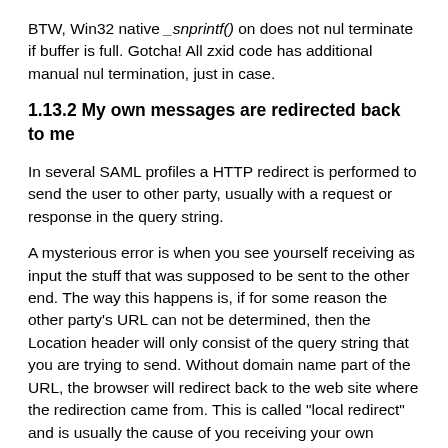BTW, Win32 native _snprintf() on does not nul terminate if buffer is full. Gotcha! All zxid code has additional manual nul termination, just in case.
1.13.2 My own messages are redirected back to me
In several SAML profiles a HTTP redirect is performed to send the user to other party, usually with a request or response in the query string.
A mysterious error is when you see yourself receiving as input the stuff that was supposed to be sent to the other end. The way this happens is, if for some reason the other party's URL can not be determined, then the Location header will only consist of the query string that you are trying to send. Without domain name part of the URL, the browser will redirect back to the web site where the redirection came from. This is called "local redirect" and is usually the cause of you receiving your own output as input.
To fix this, make sure you have the other site's metadata and make sure it parses and loads correctly.